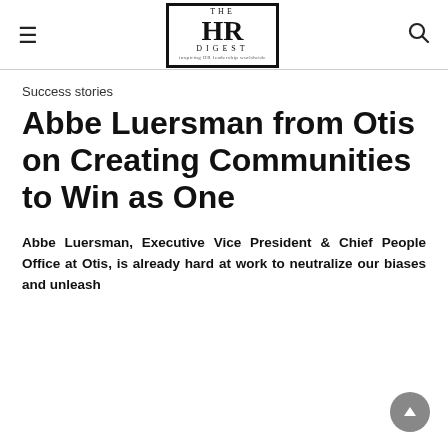THE HR DIGEST
Success stories
Abbe Luersman from Otis on Creating Communities to Win as One
Abbe Luersman, Executive Vice President & Chief People Office at Otis, is already hard at work to neutralize our biases and unleash